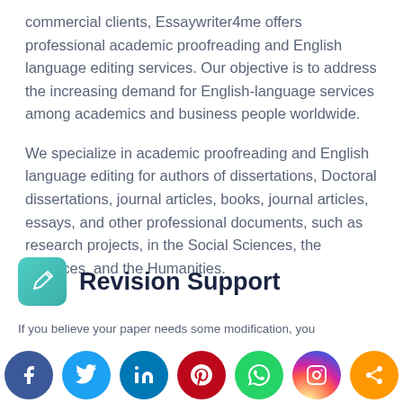commercial clients, Essaywriter4me offers professional academic proofreading and English language editing services. Our objective is to address the increasing demand for English-language services among academics and business people worldwide.
We specialize in academic proofreading and English language editing for authors of dissertations, Doctoral dissertations, journal articles, books, journal articles, essays, and other professional documents, such as research projects, in the Social Sciences, the Sciences, and the Humanities.
Revision Support
If you believe your paper needs some modification, you
[Figure (infographic): Social media share buttons row: Facebook (blue), Twitter (light blue), LinkedIn (dark blue), Pinterest (red), WhatsApp (green), Instagram (gradient), Share (orange)]